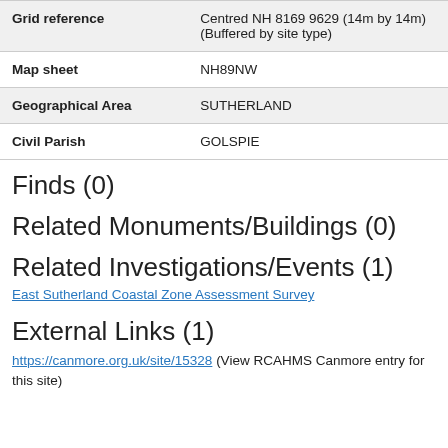| Field | Value |
| --- | --- |
| Grid reference | Centred NH 8169 9629 (14m by 14m) (Buffered by site type) |
| Map sheet | NH89NW |
| Geographical Area | SUTHERLAND |
| Civil Parish | GOLSPIE |
Finds (0)
Related Monuments/Buildings (0)
Related Investigations/Events (1)
East Sutherland Coastal Zone Assessment Survey
External Links (1)
https://canmore.org.uk/site/15328 (View RCAHMS Canmore entry for this site)